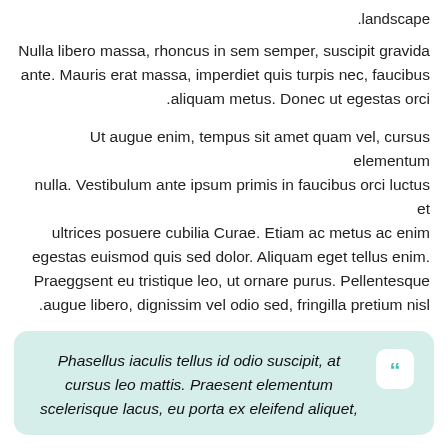.landscape
Nulla libero massa, rhoncus in sem semper, suscipit gravida ante. Mauris erat massa, imperdiet quis turpis nec, faucibus aliquam metus. Donec ut egestas orci.
Ut augue enim, tempus sit amet quam vel, cursus elementum nulla. Vestibulum ante ipsum primis in faucibus orci luctus et ultrices posuere cubilia Curae. Etiam ac metus ac enim egestas euismod quis sed dolor. Aliquam eget tellus enim. Praeggsent eu tristique leo, ut ornare purus. Pellentesque augue libero, dignissim vel odio sed, fringilla pretium nisl.
Phasellus iaculis tellus id odio suscipit, at cursus leo mattis. Praesent elementum scelerisque lacus, eu porta ex eleifend aliquet,